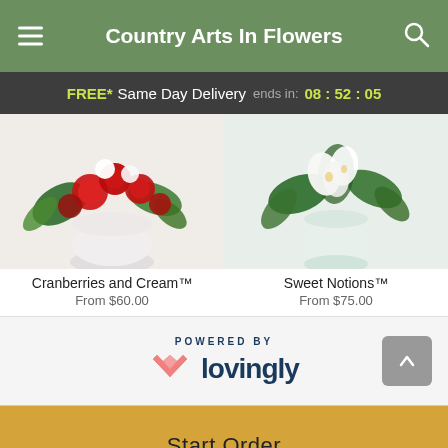Country Arts In Flowers
FREE* Same Day Delivery ends in: 08 : 52 : 05
[Figure (photo): Cranberries and Cream flower arrangement in white round vase with red carnations and greenery]
Cranberries and Cream™
From $60.00
[Figure (photo): Sweet Notions flower arrangement in white cylindrical vase with white lilies and green foliage]
Sweet Notions™
From $75.00
[Figure (logo): Powered by Lovingly logo with pink heart icon]
Start Order